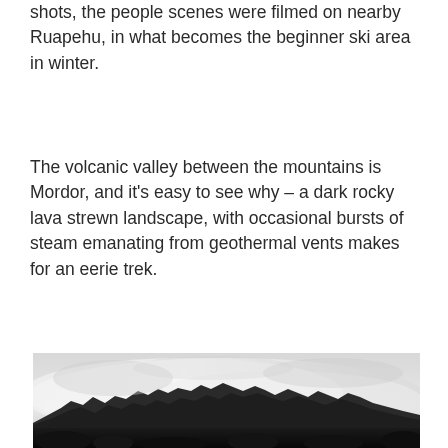shots, the people scenes were filmed on nearby Ruapehu, in what becomes the beginner ski area in winter.
The volcanic valley between the mountains is Mordor, and it's easy to see why – a dark rocky lava strewn landscape, with occasional bursts of steam emanating from geothermal vents makes for an eerie trek.
[Figure (photo): Black and white photograph of a misty volcanic landscape with jagged rocky ridgeline silhouetted against a bright foggy sky, with dark rocky foreground.]